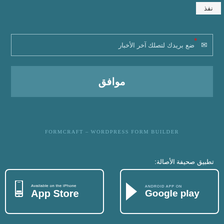نفذ
ضع بريدك لتصلك آخر الأخبار
موافق
FORMCRAFT – WORDPRESS FORM BUILDER
تطبيق صحيفة الأصالة:
[Figure (screenshot): App Store badge: Available on the iPhone App Store]
[Figure (screenshot): Google Play badge: Android App on Google play]